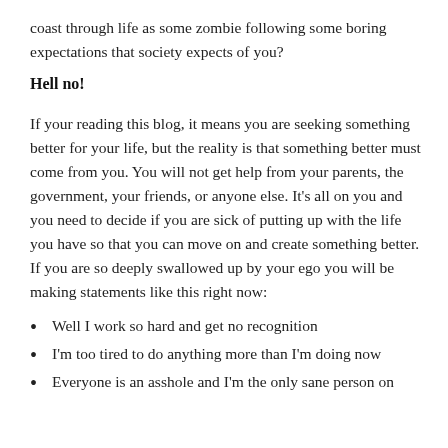coast through life as some zombie following some boring expectations that society expects of you?
Hell no!
If your reading this blog, it means you are seeking something better for your life, but the reality is that something better must come from you. You will not get help from your parents, the government, your friends, or anyone else. It's all on you and you need to decide if you are sick of putting up with the life you have so that you can move on and create something better. If you are so deeply swallowed up by your ego you will be making statements like this right now:
Well I work so hard and get no recognition
I'm too tired to do anything more than I'm doing now
Everyone is an asshole and I'm the only sane person on this planet